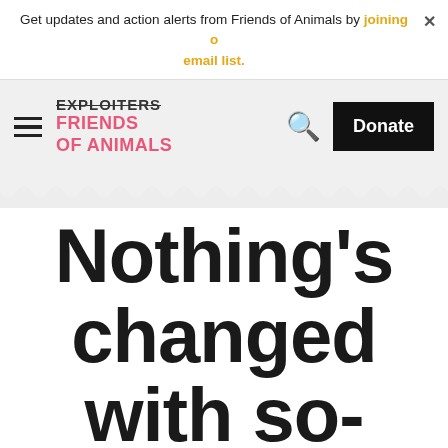Get updates and action alerts from Friends of Animals by joining our email list.
[Figure (screenshot): Friends of Animals website header with navigation bar showing hamburger menu, logo with strikethrough EXPLOITERS and pink FRIENDS of ANIMALS text, search icon, and Donate button]
Nothing's changed with so-